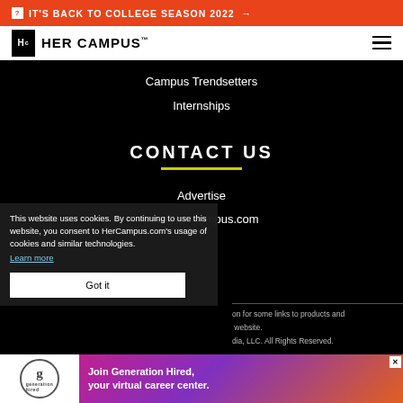IT'S BACK TO COLLEGE SEASON 2022 →
[Figure (logo): Her Campus logo with Hc mark and wordmark]
Campus Trendsetters
Internships
CONTACT US
Advertise
Info@hercampus.com
This website uses cookies. By continuing to use this website, you consent to HerCampus.com's usage of cookies and similar technologies. Learn more
Got it
on for some links to products and website. dia, LLC. All Rights Reserved.
[Figure (infographic): Generation Hired advertisement banner — Join Generation Hired, your virtual career center.]